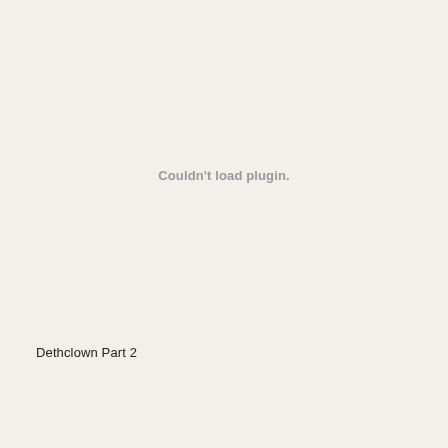Couldn't load plugin.
Dethclown Part 2